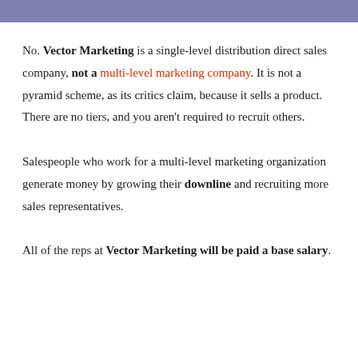No. Vector Marketing is a single-level distribution direct sales company, not a multi-level marketing company. It is not a pyramid scheme, as its critics claim, because it sells a product. There are no tiers, and you aren't required to recruit others.
Salespeople who work for a multi-level marketing organization generate money by growing their downline and recruiting more sales representatives.
All of the reps at Vector Marketing will be paid a base salary.